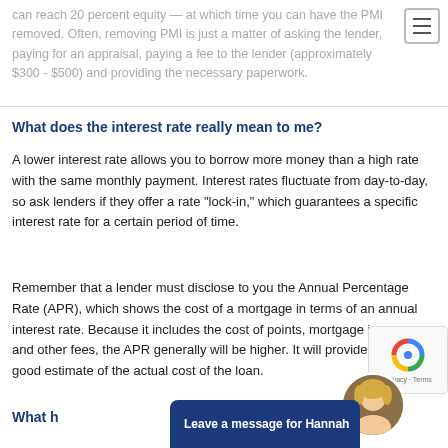can reach 20 percent equity — at which time you can have the PMI removed. Often, removing PMI is just a matter of asking the lender, paying for an appraisal, paying a fee to the lender (approximately $300 - $500) and providing the necessary paperwork.
What does the interest rate really mean to me?
A lower interest rate allows you to borrow more money than a high rate with the same monthly payment. Interest rates fluctuate from day-to-day, so ask lenders if they offer a rate "lock-in," which guarantees a specific interest rate for a certain period of time.
Remember that a lender must disclose to you the Annual Percentage Rate (APR), which shows the cost of a mortgage in terms of an annual interest rate. Because it includes the cost of points, mortgage insurance and other fees, the APR generally will be higher. It will provide you with a good estimate of the actual cost of the loan.
What happens if I have problems making payments on my loan?
[Figure (other): Chat widget with text 'Leave a message for Hannah' on dark blue background, with circular avatar photo of a blonde woman]